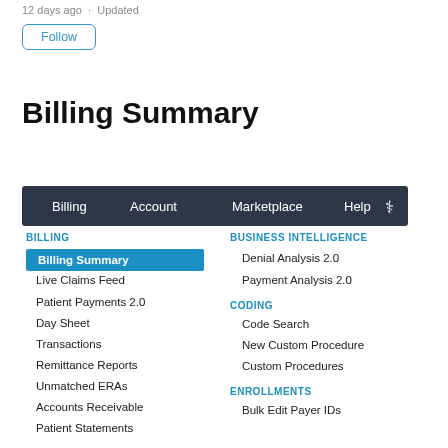12 days ago · Updated
Follow
Billing Summary
[Figure (screenshot): Navigation bar with tabs: Billing, Account, Marketplace, Help, and a medical cross icon, on a dark blue-grey background]
BILLING
Billing Summary
Live Claims Feed
Patient Payments 2.0
Day Sheet
Transactions
Remittance Reports
Unmatched ERAs
Accounts Receivable
Patient Statements
BUSINESS INTELLIGENCE
Denial Analysis 2.0
Payment Analysis 2.0
CODING
Code Search
New Custom Procedure
Custom Procedures
ENROLLMENTS
Bulk Edit Payer IDs